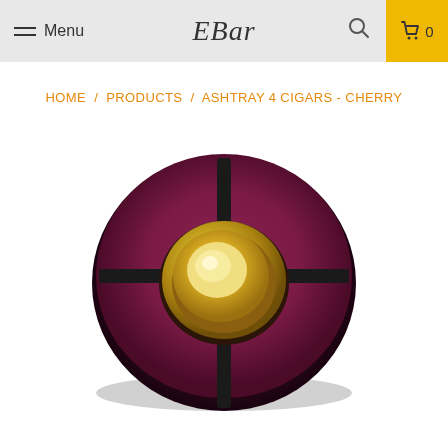Menu | EBar | 0
HOME / PRODUCTS / ASHTRAY 4 CIGARS - CHERRY
[Figure (photo): Round cherry wood cigar ashtray with 4 slots divided by black inlays and a gold-colored metal bowl in the center, viewed from above at a slight angle.]